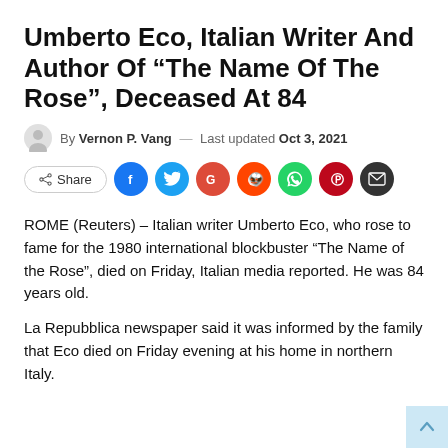Umberto Eco, Italian Writer And Author Of “The Name Of The Rose”, Deceased At 84
By Vernon P. Vang — Last updated Oct 3, 2021
[Figure (infographic): Social share buttons row: Share button, Facebook, Twitter, Google+, Reddit, WhatsApp, Pinterest, Email icons]
ROME (Reuters) – Italian writer Umberto Eco, who rose to fame for the 1980 international blockbuster “The Name of the Rose”, died on Friday, Italian media reported. He was 84 years old.
La Repubblica newspaper said it was informed by the family that Eco died on Friday evening at his home in northern Italy.